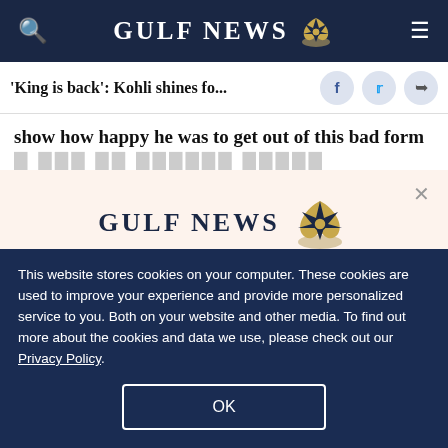GULF NEWS
'King is back': Kohli shines fo...
show how happy he was to get out of this bad form
[Figure (logo): Gulf News logo with eagle emblem and text 'A special offer for our readers' and 'Get the two years All-Access subscription now']
This website stores cookies on your computer. These cookies are used to improve your experience and provide more personalized service to you. Both on your website and other media. To find out more about the cookies and data we use, please check out our Privacy Policy.
OK